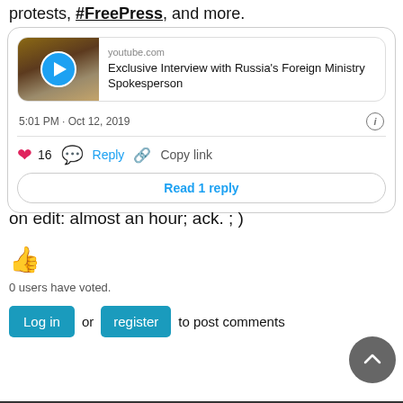protests, #FreePress, and more.
[Figure (screenshot): YouTube video preview card showing 'Exclusive Interview with Russia's Foreign Ministry Spokesperson' from youtube.com with a thumbnail of a person and play button]
5:01 PM · Oct 12, 2019
16  Reply  Copy link
Read 1 reply
on edit: almost an hour; ack. ; )
👍
0 users have voted.
Log in or register to post comments